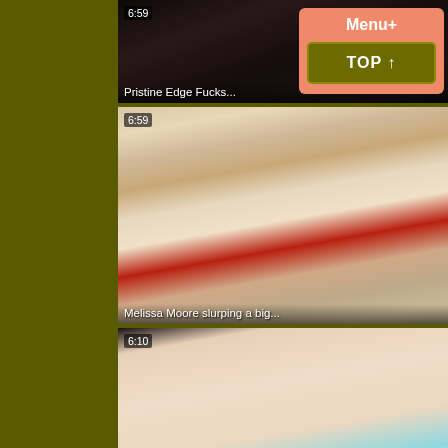[Figure (screenshot): Video thumbnail 1 - 'Pristine Edge Fucks...' duration 6:59 area (partially visible at top)]
Pristine Edge Fucks...
[Figure (screenshot): Video thumbnail - 'Melissa Moore slurping a big...' duration 6:59]
Melissa Moore slurping a big...
[Figure (screenshot): Video thumbnail - 'Big butt Maddy rides a big black...' duration 6:10]
Big butt Maddy rides a big black...
Menu+
TOP ↑